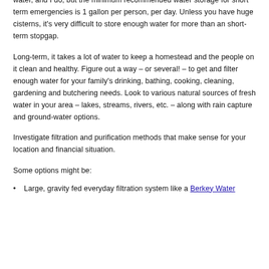water, and I do, but the minimum recommended water storage for short term emergencies is 1 gallon per person, per day. Unless you have huge cisterns, it's very difficult to store enough water for more than an short-term stopgap.
Long-term, it takes a lot of water to keep a homestead and the people on it clean and healthy. Figure out a way – or several! – to get and filter enough water for your family's drinking, bathing, cooking, cleaning, gardening and butchering needs. Look to various natural sources of fresh water in your area – lakes, streams, rivers, etc. – along with rain capture and ground-water options.
Investigate filtration and purification methods that make sense for your location and financial situation.
Some options might be:
Large, gravity fed everyday filtration system like a Berkey Water